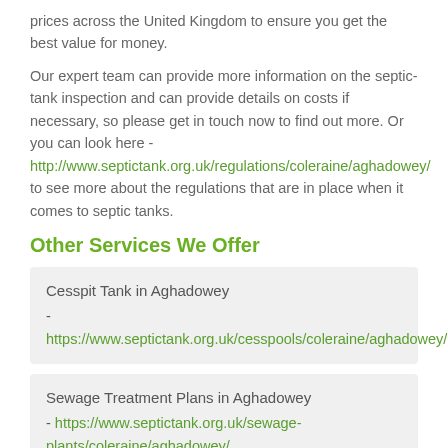prices across the United Kingdom to ensure you get the best value for money.
Our expert team can provide more information on the septic-tank inspection and can provide details on costs if necessary, so please get in touch now to find out more. Or you can look here - http://www.septictank.org.uk/regulations/coleraine/aghadowey/ to see more about the regulations that are in place when it comes to septic tanks.
Other Services We Offer
Cesspit Tank in Aghadowey - https://www.septictank.org.uk/cesspools/coleraine/aghadowey/
Sewage Treatment Plans in Aghadowey - https://www.septictank.org.uk/sewage-plants/coleraine/aghadowey/
Septic Tank Emptying in Aghadowey